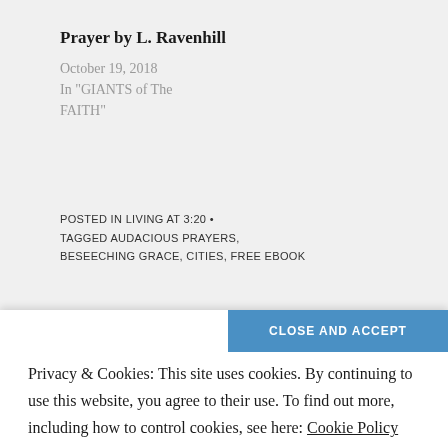Prayer by L. Ravenhill
October 19, 2018
In "GIANTS of The FAITH"
POSTED IN LIVING AT 3:20 • TAGGED AUDACIOUS PRAYERS, BESEECHING GRACE, CITIES, FREE EBOOK
Privacy & Cookies: This site uses cookies. By continuing to use this website, you agree to their use. To find out more, including how to control cookies, see here: Cookie Policy
Published by womenwithdestiny